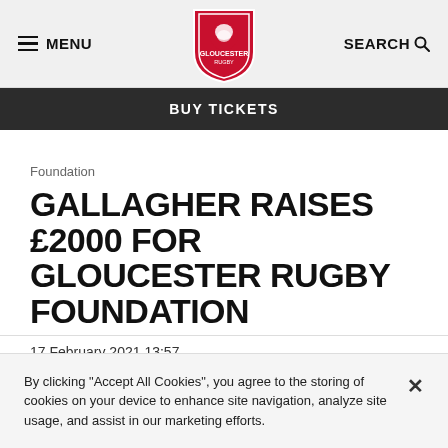MENU | Gloucester Rugby Logo | SEARCH
BUY TICKETS
Foundation
GALLAGHER RAISES £2000 FOR GLOUCESTER RUGBY FOUNDATION
17 February 2021 13:57
[Figure (infographic): Social media share icons: Facebook, Twitter, LinkedIn]
By clicking “Accept All Cookies”, you agree to the storing of cookies on your device to enhance site navigation, analyze site usage, and assist in our marketing efforts.